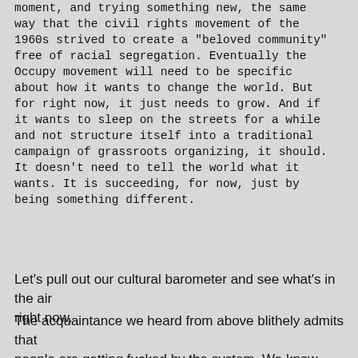moment, and trying something new, the same way that the civil rights movement of the 1960s strived to create a "beloved community" free of racial segregation. Eventually the Occupy movement will need to be specific about how it wants to change the world. But for right now, it just needs to grow. And if it wants to sleep on the streets for a while and not structure itself into a traditional campaign of grassroots organizing, it should. It doesn't need to tell the world what it wants. It is succeeding, for now, just by being something different.
Let's pull out our cultural barometer and see what's in the air right now.
The acquaintance we heard from above blithely admits that people are getting fucked by the system. We know and accept that our government is broken, our politicians are bought, and nobody in power has the balls to give our most pressing issues anything more than lip service; we